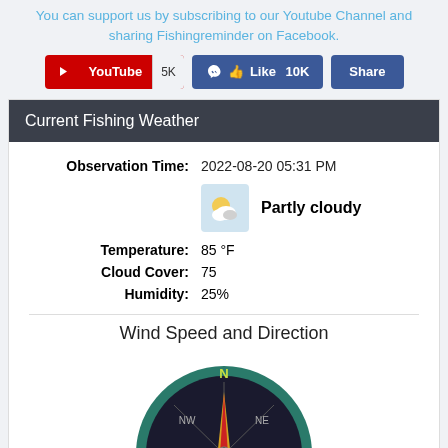You can support us by subscribing to our Youtube Channel and sharing Fishingreminder on Facebook.
[Figure (screenshot): YouTube subscribe button with 5K count, Facebook Like 10K button, and Facebook Share button]
Current Fishing Weather
Observation Time: 2022-08-20 05:31 PM
Partly cloudy
Temperature: 85 °F
Cloud Cover: 75
Humidity: 25%
Wind Speed and Direction
[Figure (illustration): Compass rose showing wind direction with N, NE, E, NW, W labels and a red arrow pointing roughly north-northeast. Colors: teal outer ring, dark background, yellow/gold compass star, red and olive/dark yellow arrow.]